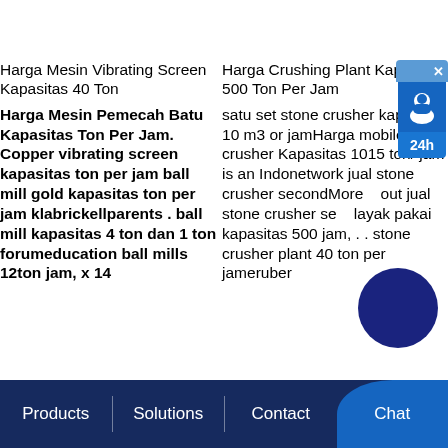Harga Mesin Vibrating Screen Kapasitas 40 Ton
Harga Crushing Plant Kapasitas 500 Ton Per Jam
Harga Mesin Pemecah Batu Kapasitas Ton Per Jam. Copper vibrating screen kapasitas ton per jam ball mill gold kapasitas ton per jam klabrickellparents . ball mill kapasitas 4 ton dan 1 ton forumeducation ball mills 12ton jam, x 14
satu set stone crusher kapasitas 10 m3 or jamHarga mobile crusher Kapasitas 1015 ton/ jam is an Indonetwork jual stone crusher secondMore out jual stone crusher second layak pakai kapasitas 500 jam, . . stone crusher plant 40 ton per jameruber
Products | Solutions | Contact | Chat